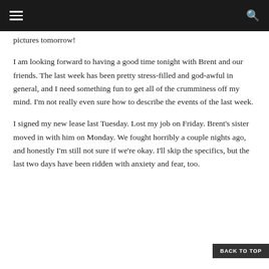pictures tomorrow!
I am looking forward to having a good time tonight with Brent and our friends. The last week has been pretty stress-filled and god-awful in general, and I need something fun to get all of the crumminess off my mind. I'm not really even sure how to describe the events of the last week.
I signed my new lease last Tuesday. Lost my job on Friday. Brent's sister moved in with him on Monday. We fought horribly a couple nights ago, and honestly I'm still not sure if we're okay. I'll skip the specifics, but the last two days have been ridden with anxiety and fear, too. Now, I'll see, maybe it'll all work out...